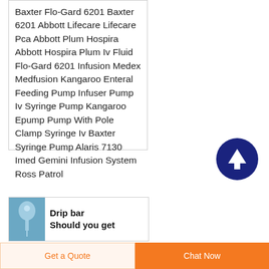Baxter Flo-Gard 6201 Baxter 6201 Abbott Lifecare Lifecare Pca Abbott Plum Hospira Abbott Hospira Plum Iv Fluid Flo-Gard 6201 Infusion Medex Medfusion Kangaroo Enteral Feeding Pump Infuser Pump Iv Syringe Pump Kangaroo Epump Pump With Pole Clamp Syringe Iv Baxter Syringe Pump Alaris 7130 Imed Gemini Infusion System Ross Patrol
[Figure (other): Dark navy blue circular button with an upward-pointing white arrow icon, used as a scroll-to-top button]
[Figure (photo): Small thumbnail image showing IV drip / infusion bag on blue background]
Drip bar Should you get
Get a Quote   Chat Now